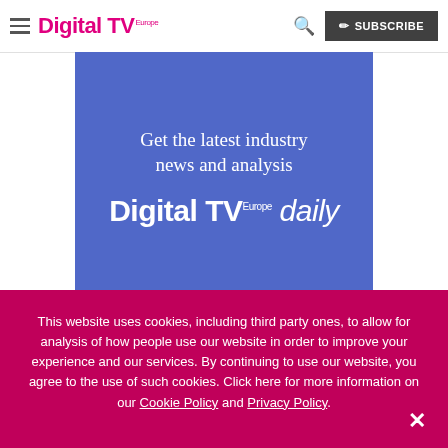Digital TV Europe — Subscribe
[Figure (infographic): Blue banner advertisement for Digital TV Europe daily newsletter with text 'Get the latest industry news and analysis' and 'Digital TV Europe daily' logo in white on blue background]
This website uses cookies, including third party ones, to allow for analysis of how people use our website in order to improve your experience and our services. By continuing to use our website, you agree to the use of such cookies. Click here for more information on our Cookie Policy and Privacy Policy.